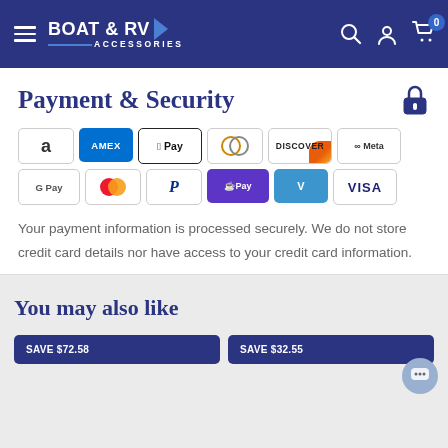BOAT & RV ACCESSORIES — Navigation header with menu, search, account, and cart icons
Payment & Security
[Figure (infographic): Payment method logos: Amazon, Amex, Apple Pay, Diners Club, Discover, Meta, Google Pay, Mastercard, PayPal, Shop Pay, Venmo, Visa]
Your payment information is processed securely. We do not store credit card details nor have access to your credit card information.
You may also like
[Figure (infographic): Two product cards with save badges: SAVE $72.58 and SAVE $32.55]